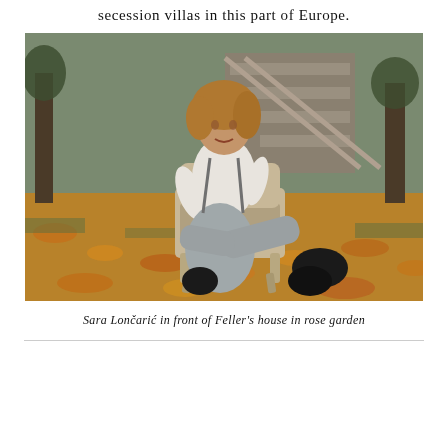secession villas in this part of Europe.
[Figure (photo): A woman (Sara Lončarić) sitting in an ornate wooden chair outdoors in a garden covered with autumn leaves, wearing a white blouse, grey wide-leg trousers, and black lace-up boots. Stone stairs and trees visible in the background.]
Sara Lončarić in front of Feller's house in rose garden